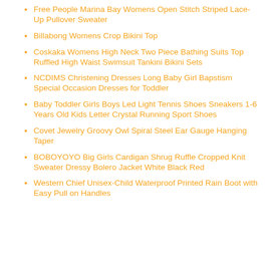Free People Marina Bay Womens Open Stitch Striped Lace-Up Pullover Sweater
Billabong Womens Crop Bikini Top
Coskaka Womens High Neck Two Piece Bathing Suits Top Ruffled High Waist Swimsuit Tankini Bikini Sets
NCDIMS Christening Dresses Long Baby Girl Bapstism Special Occasion Dresses for Toddler
Baby Toddler Girls Boys Led Light Tennis Shoes Sneakers 1-6 Years Old Kids Letter Crystal Running Sport Shoes
Covet Jewelry Groovy Owl Spiral Steel Ear Gauge Hanging Taper
BOBOYOYO Big Girls Cardigan Shrug Ruffle Cropped Knit Sweater Dressy Bolero Jacket White Black Red
Western Chief Unisex-Child Waterproof Printed Rain Boot with Easy Pull on Handles